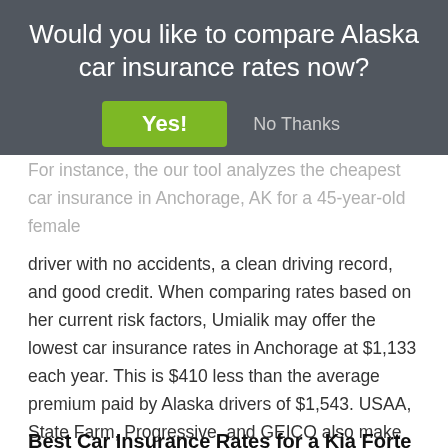Would you like to compare Alaska car insurance rates now?
[Figure (screenshot): Modal dialog with a green 'Yes!' button and a 'No Thanks' text button on a dark gray overlay]
For instance, the our tool analyzes the cheapest car insurance in Anchorage, AK for a 45-year-old female driver with no accidents, a clean driving record, and good credit. When comparing rates based on her current risk factors, Umialik may offer the lowest car insurance rates in Anchorage at $1,133 each year. This is $410 less than the average premium paid by Alaska drivers of $1,543. USAA, State Farm, Progressive, and GEICO also make the list of the most affordable Anchorage, AK auto insurance companies.
Best Car Insurance Rates for a Kia Forte in Alaska